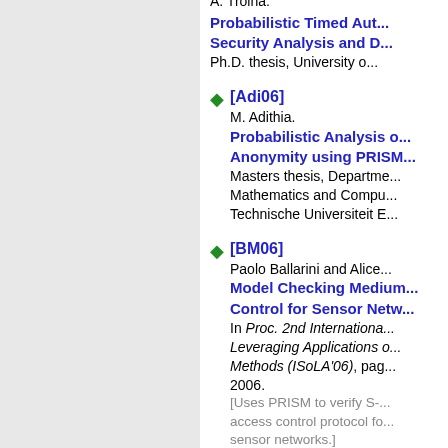A. Troina. Probabilistic Timed Aut... Security Analysis and D... Ph.D. thesis, University o...
[Adi06] M. Adithia. Probabilistic Analysis o... Anonymity using PRISM. Masters thesis, Department of Mathematics and Compu... Technische Universiteit E...
[BM06] Paolo Ballarini and Alice... Model Checking Medium... Control for Sensor Netw... In Proc. 2nd Internationa... Leveraging Applications o... Methods (ISoLA'06), pag... 2006. [Uses PRISM to verify S-... access control protocol fo... sensor networks.]
[MF06] Annabelle Malyer and An...